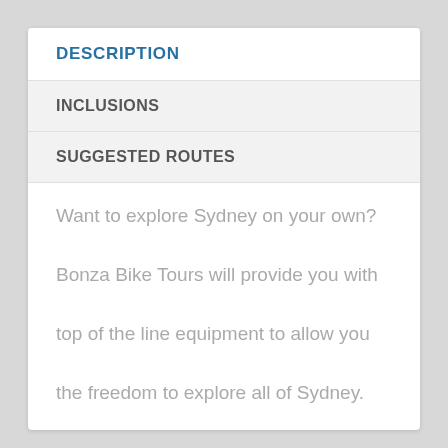DESCRIPTION
INCLUSIONS
SUGGESTED ROUTES
Want to explore Sydney on your own? Bonza Bike Tours will provide you with top of the line equipment to allow you the freedom to explore all of Sydney. We provide you with information on some of the best areas to visit, as well